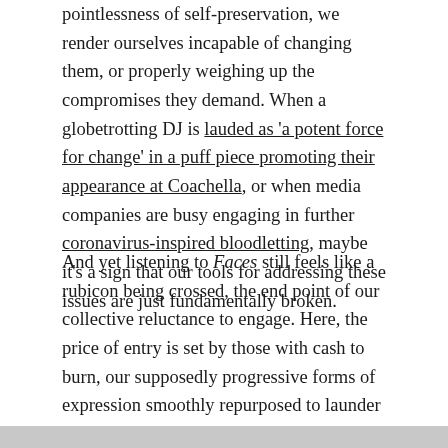pointlessness of self-preservation, we render ourselves incapable of changing them, or properly weighing up the compromises they demand. When a globetrotting DJ is lauded as 'a potent force for change' in a puff piece promoting their appearance at Coachella, or when media companies are busy engaging in further coronavirus-inspired bloodletting, maybe it's a sign that our tools for addressing these issues are just fundamentally broken.
And yet listening to Faces still feels like a rubicon being crossed, the end point of our collective reluctance to engage. Here, the price of entry is set by those with cash to burn, our supposedly progressive forms of expression smoothly repurposed to launder the worst excesses of global capitalism. When we're imagining the post-pandemic world we want to re-emerge into, and the sterile, regressive visions represented by Housekeeping, it seems fair to ask: is this really the best we can do?